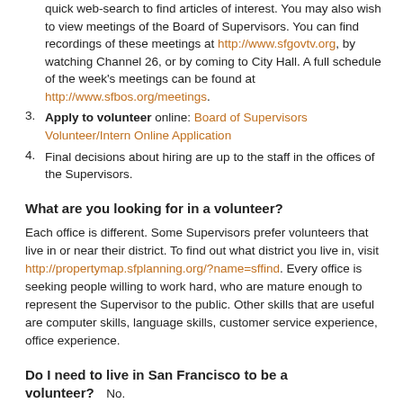quick web-search to find articles of interest. You may also wish to view meetings of the Board of Supervisors. You can find recordings of these meetings at http://www.sfgovtv.org, by watching Channel 26, or by coming to City Hall. A full schedule of the week's meetings can be found at http://www.sfbos.org/meetings.
3. Apply to volunteer online: Board of Supervisors Volunteer/Intern Online Application
4. Final decisions about hiring are up to the staff in the offices of the Supervisors.
What are you looking for in a volunteer?
Each office is different. Some Supervisors prefer volunteers that live in or near their district. To find out what district you live in, visit http://propertymap.sfplanning.org/?name=sffind. Every office is seeking people willing to work hard, who are mature enough to represent the Supervisor to the public. Other skills that are useful are computer skills, language skills, customer service experience, office experience.
Do I need to live in San Francisco to be a volunteer?   No.
What kind of work is involved?
What to expect is similar to what you'd learn by doing a quick web-search to find articles of interest...